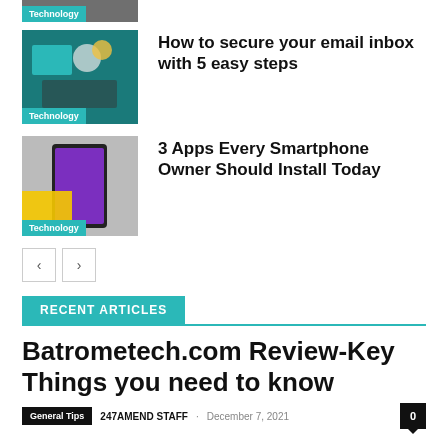[Figure (photo): Cropped technology thumbnail with 'Technology' label badge, partially visible at top]
[Figure (photo): Technology article thumbnail: teal background with email/security icons, 'Technology' label badge]
How to secure your email inbox with 5 easy steps
[Figure (photo): Smartphone on yellow surface with purple screen, 'Technology' label badge]
3 Apps Every Smartphone Owner Should Install Today
< > pagination buttons
RECENT ARTICLES
Batrometech.com Review-Key Things you need to know
General Tips · 247AMEND STAFF · December 7, 2021 · 0